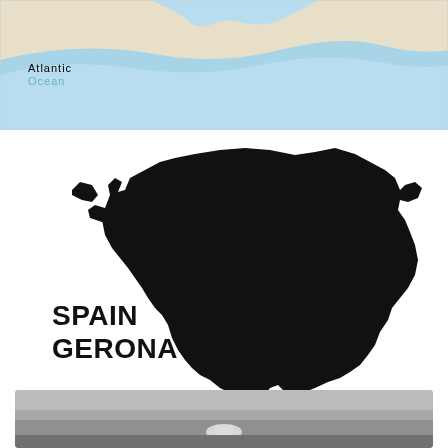[Figure (map): Partial map showing coastline with Atlantic Ocean label, blue water areas and beige land areas]
[Figure (map): Black silhouette map of Gerona province in Spain with 'SPAIN GERONA' label on white background]
[Figure (photo): Grayscale photograph at bottom of page, partially visible]